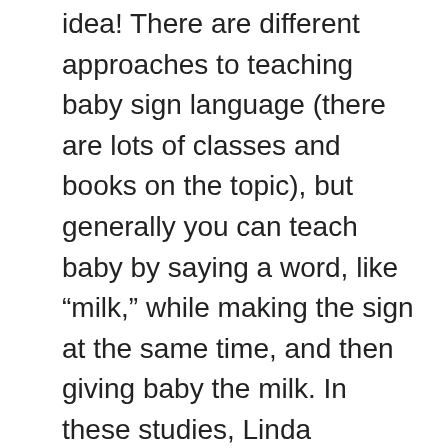idea! There are different approaches to teaching baby sign language (there are lots of classes and books on the topic), but generally you can teach baby by saying a word, like “milk,” while making the sign at the same time, and then giving baby the milk. In these studies, Linda Acredolo and Susan Goodwyn instructed parents to use baby signs with their … Baby Sign Language DVDs teach your baby to sign while keeping them entertained. This guide will have you ready to start teaching your child Baby Sign Language in just 5 minutes. 88 baby sign language video milk, milk video sign baby language Ditulis admob3 Jumat, 10 Maret 2017 Tulis Komentar Edit *** 130 baby sign language